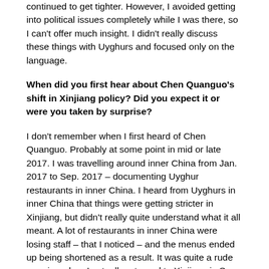continued to get tighter. However, I avoided getting into political issues completely while I was there, so I can't offer much insight. I didn't really discuss these things with Uyghurs and focused only on the language.
When did you first hear about Chen Quanguo's shift in Xinjiang policy? Did you expect it or were you taken by surprise?
I don't remember when I first heard of Chen Quanguo. Probably at some point in mid or late 2017. I was travelling around inner China from Jan. 2017 to Sep. 2017 – documenting Uyghur restaurants in inner China. I heard from Uyghurs in inner China that things were getting stricter in Xinjiang, but didn't really quite understand what it all meant. A lot of restaurants in inner China were losing staff – that I noticed – and the menus ended up being shortened as a result. It was quite a rude surprise when I actually returned to Xinjiang in Sep. 2017 and saw just how tight everything was, and then it gradually got worse as I understood that people, including many whom I knew, had disappeared or had been interned